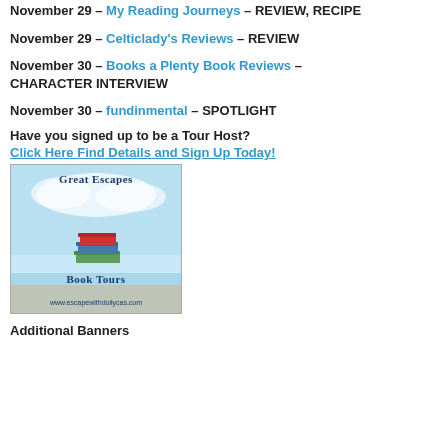November 29 – My Reading Journeys – REVIEW, RECIPE
November 29 – Celticlady's Reviews – REVIEW
November 30 – Books a Plenty Book Reviews – CHARACTER INTERVIEW
November 30 – fundinmental – SPOTLIGHT
Have you signed up to be a Tour Host?
Click Here Find Details and Sign Up Today!
[Figure (logo): Great Escapes Book Tours logo — stack of books on beach with text 'Great Escapes Book Tours www.escapewithdollycas.com']
Additional Banners